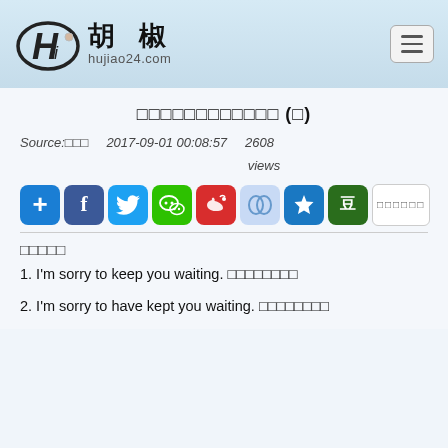胡椒 hujiao24.com
□□□□□□□□□□□□ (□)
Source:□□□   2017-09-01 00:08:57   2608 views
[Figure (other): Social sharing buttons row: plus, Facebook, Twitter, WeChat, Weibo, Renren, Kaixin, Douban, and more buttons]
□□□□□
1. I'm sorry to keep you waiting. □□□□□□□□
2. I'm sorry to have kept you waiting. □□□□□□□□